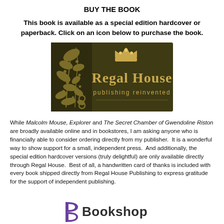BUY THE BOOK
This book is available as a special edition hardcover or paperback. Click on an icon below to purchase the book.
[Figure (logo): Regal House Publishing logo: dark olive/brown rectangular background with decorative floral pattern on the left and a gold crown icon above the text 'Regal House' in gold serif font, with 'publishing reinvented' in smaller gold text below.]
While Malcolm Mouse, Explorer and The Secret Chamber of Gwendoline Riston are broadly available online and in bookstores, I am asking anyone who is financially able to consider ordering directly from my publisher.  It is a wonderful way to show support for a small, independent press.  And additionally, the special edition hardcover versions (truly delightful) are only available directly through Regal House.  Best of all, a handwritten card of thanks is included with every book shipped directly from Regal House Publishing to express gratitude for the support of independent publishing.
[Figure (logo): Bookshop logo: a stylized purple 'B' letterform followed by the word 'Bookshop' in dark text, partially visible at the bottom of the page.]